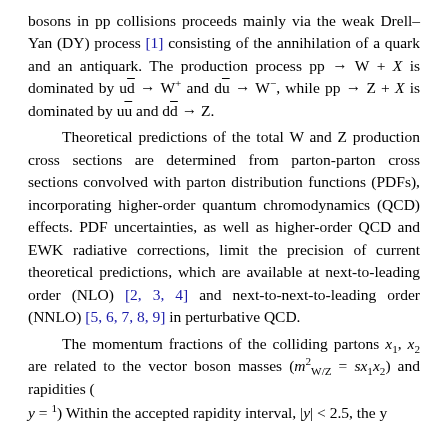bosons in pp collisions proceeds mainly via the weak Drell–Yan (DY) process [1] consisting of the annihilation of a quark and an antiquark. The production process pp → W + X is dominated by ud̄ → W⁺ and dū → W⁻, while pp → Z + X is dominated by uū and dd̄ → Z.

        Theoretical predictions of the total W and Z production cross sections are determined from parton-parton cross sections convolved with parton distribution functions (PDFs), incorporating higher-order quantum chromodynamics (QCD) effects. PDF uncertainties, as well as higher-order QCD and EWK radiative corrections, limit the precision of current theoretical predictions, which are available at next-to-leading order (NLO) [2, 3, 4] and next-to-next-to-leading order (NNLO) [5, 6, 7, 8, 9] in perturbative QCD.

        The momentum fractions of the colliding partons x₁, x₂ are related to the vector boson masses (m²_{W/Z} = sx₁x₂) and rapidities (
y = ½ ) Within the accepted rapidity interval, |y| < 2.5, the y...